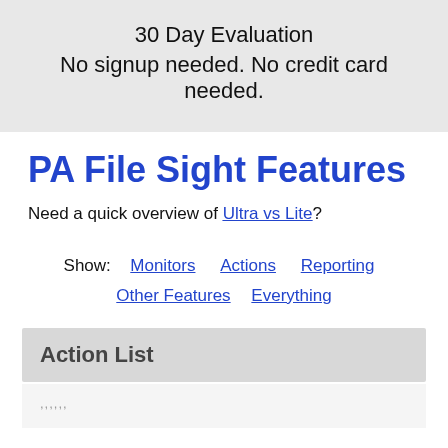30 Day Evaluation
No signup needed. No credit card needed.
PA File Sight Features
Need a quick overview of Ultra vs Lite?
Show: Monitors Actions Reporting Other Features Everything
Action List